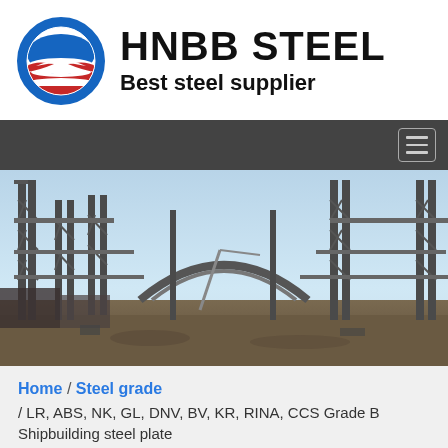[Figure (logo): HNBB Steel company logo with circular Obama-style icon (blue ring, red and white swoosh stripes) and text 'HNBB STEEL / Best steel supplier']
[Figure (photo): Construction site photo showing large steel structural framework under a clear sky with cranes and construction equipment visible]
Home / Steel grade / LR, ABS, NK, GL, DNV, BV, KR, RINA, CCS Grade B Shipbuilding steel plate